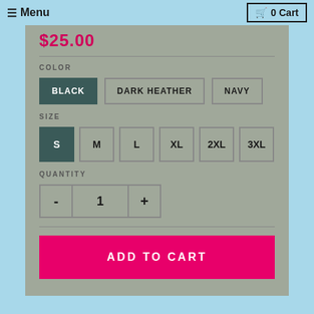≡ Menu   🛒 0 Cart
$25.00
COLOR
BLACK (selected)
DARK HEATHER
NAVY
SIZE
S (selected)
M
L
XL
2XL
3XL
QUANTITY
- 1 +
ADD TO CART